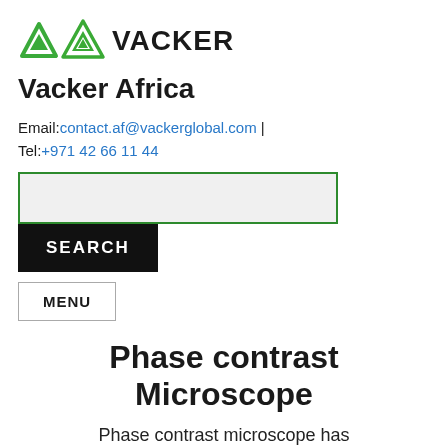[Figure (logo): Vacker company logo with green triangular icon and bold VACKER text]
Vacker Africa
Email: contact.af@vackerglobal.com | Tel: +971 42 66 11 44
Phase contrast Microscope
Phase contrast microscope has